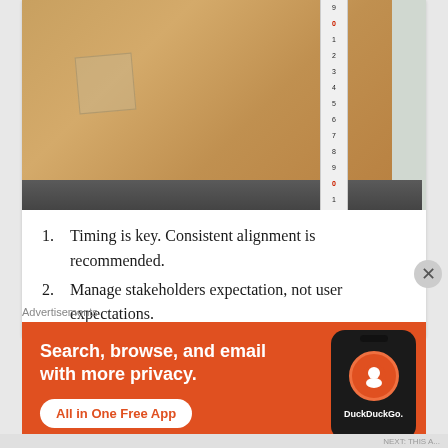[Figure (photo): A large cardboard box being measured with a tape measure/ruler. The box sits on a dark floor base. To the left is a small plastic bag with tape. The right side shows a light grey background. The measuring tape runs vertically along the right side of the box showing numbers 0-4 (in 10s) with red markings.]
Timing is key. Consistent alignment is recommended.
Manage stakeholders expectation, not user expectations.
Advertisements
[Figure (screenshot): DuckDuckGo advertisement banner. Orange background with text: 'Search, browse, and email with more privacy. All in One Free App' with a white pill-shaped button. On the right is a phone mockup showing the DuckDuckGo logo and brand name.]